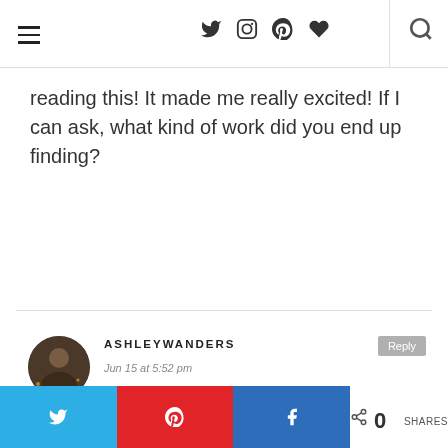Navigation bar with hamburger menu, social icons (Twitter, Instagram, Pinterest, Heart), and search icon
reading this! It made me really excited! If I can ask, what kind of work did you end up finding?
ASHLEYWANDERS
Jun 15 at 5:52 pm
Glad you enjoyed it, Rachel! When I first arrived, I worked a few temporary administrative positions, and I'm now working as a document transcriber
Twitter share, Pinterest share, Facebook share, 0 SHARES